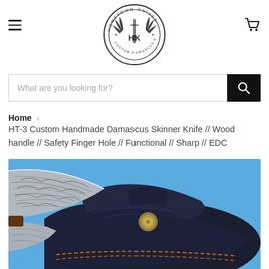[Figure (logo): Hometown Knives circular logo with HK monogram and wings, custom Damascus knife manufacturer]
[Figure (other): Hamburger menu icon (three horizontal lines) on the left of the header]
[Figure (other): Shopping cart icon on the right of the header]
What are you looking for?
Home › HT-3 Custom Handmade Damascus Skinner Knife // Wood handle // Safety Finger Hole // Functional // Sharp // EDC
[Figure (photo): Close-up photo of a Damascus steel skinner knife with patterned blade resting on a dark leather sheath with a brass button snap, on a blue background]